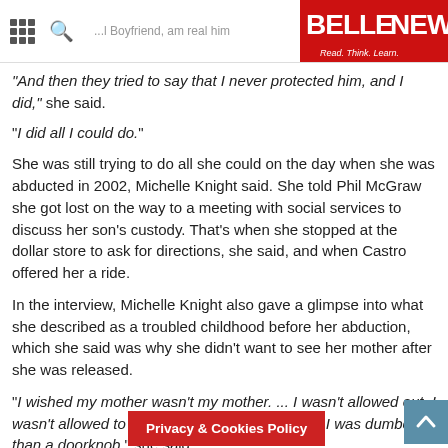BELLE NEWS - Read. Think. Learn.
And then they tried to say that I never protected him, and I did," she said.
"I did all I could do."
She was still trying to do all she could on the day when she was abducted in 2002, Michelle Knight said. She told Phil McGraw she got lost on the way to a meeting with social services to discuss her son's custody. That's when she stopped at the dollar store to ask for directions, she said, and when Castro offered her a ride.
In the interview, Michelle Knight also gave a glimpse into what she described as a troubled childhood before her abduction, which she said was why she didn't want to see her mother after she was released.
"I wished my mother wasn't my mother. ... I wasn't allowed out. I wasn't allowed to have friends. She made sure I was dumber than a doorknob," she said.